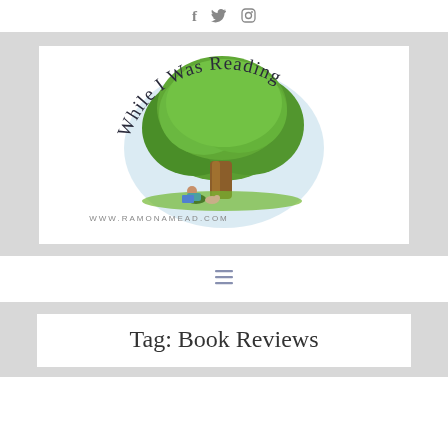Social icons: f (Facebook), Twitter bird, Instagram
[Figure (logo): While I Was Reading blog logo — illustrated tree with person reading underneath, text 'While I Was Reading' in script arcing over tree, 'www.ramonamead.com' at bottom]
Hamburger menu icon (≡)
Tag: Book Reviews